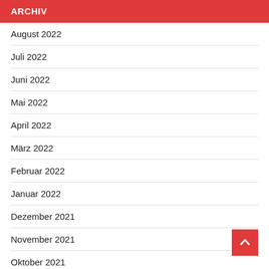ARCHIV
August 2022
Juli 2022
Juni 2022
Mai 2022
April 2022
März 2022
Februar 2022
Januar 2022
Dezember 2021
November 2021
Oktober 2021
September 2021